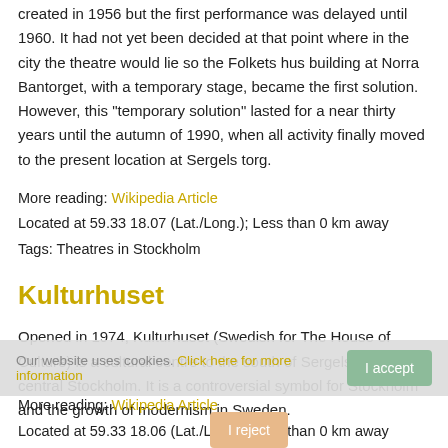created in 1956 but the first performance was delayed until 1960. It had not yet been decided at that point where in the city the theatre would lie so the Folkets hus building at Norra Bantorget, with a temporary stage, became the first solution. However, this "temporary solution" lasted for a near thirty years until the autumn of 1990, when all activity finally moved to the present location at Sergels torg.
More reading: Wikipedia Article
Located at 59.33 18.07 (Lat./Long.); Less than 0 km away
Tags: Theatres in Stockholm
Kulturhuset
Opened in 1974, Kulturhuset (Swedish for The House of Culture) is a cultural centre to the south of Sergels Torg in central Stockholm. It is a controversial symbol for Stockholm and the growth of modernism in Sweden.
More reading: Wikipedia Article
Located at 59.33 18.06 (Lat./Long.); Less than 0 km away